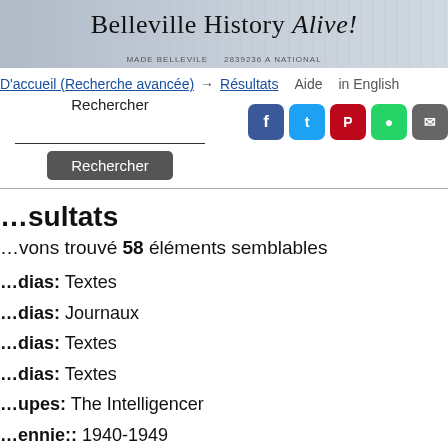[Figure (illustration): Belleville History Alive! website banner header with historical building images and stylized text logo]
D'accueil (Recherche avancée) → Résultats   Aide   in English
Rechercher
Rechercher (button)
[Figure (screenshot): Social media sharing icons: Facebook, Twitter, Pinterest, WhatsApp, Email]
Résultats
Nous avons trouvé 58 éléments semblables
Médias: Textes
Médias: Journaux
Médias: Textes
Médias: Textes
Groupes: The Intelligencer
Décennie:: 1940-1949